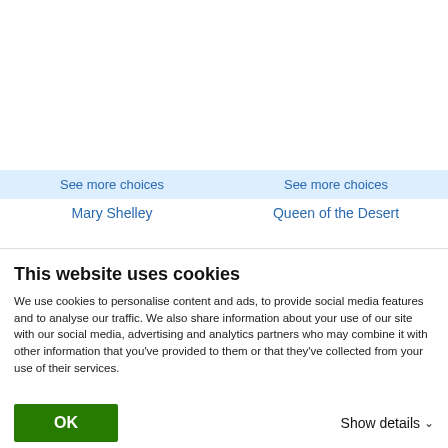See more choices
Mary Shelley
See more choices
Queen of the Desert
This website uses cookies
We use cookies to personalise content and ads, to provide social media features and to analyse our traffic. We also share information about your use of our site with our social media, advertising and analytics partners who may combine it with other information that you've provided to them or that they've collected from your use of their services.
OK
Show details